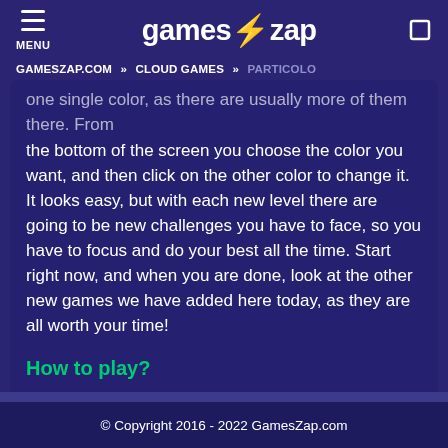games⚡zap  MENU
GAMESZAP.COM » CLOUD GAMES » PARTICOLO
one single color, as there are usually more of them there. From the bottom of the screen you choose the color you want, and then click on the other color to change it. It looks easy, but with each new level there are going to be new challenges you have to face, so you have to focus and do your best all the time. Start right now, and when you are done, look at the other new games we have added here today, as they are all worth your time!
How to play?
Use the mouse.
© Copyright 2016 - 2022 GamesZap.com